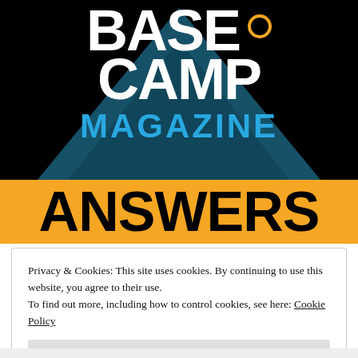[Figure (logo): Base Camp Magazine logo on black background with teal triangle, white bold text 'BASE CAMP', blue 'MAGAZINE', and gold circle dot. Below is an orange/amber banner with bold black 'ANSWERS' text.]
Privacy & Cookies: This site uses cookies. By continuing to use this website, you agree to their use.
To find out more, including how to control cookies, see here: Cookie Policy
Close and accept